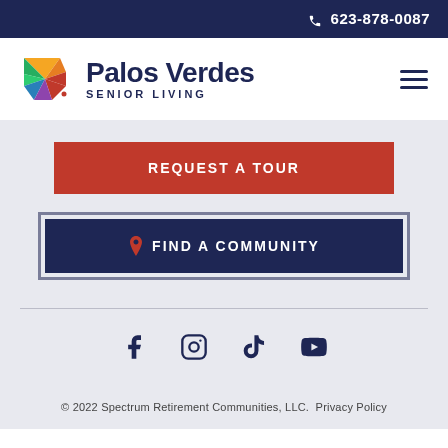📞 623-878-0087
[Figure (logo): Palos Verdes Senior Living logo with colorful pinwheel star and dark navy brand text]
REQUEST A TOUR
📍 FIND A COMMUNITY
[Figure (infographic): Social media icons: Facebook, Instagram, TikTok, YouTube]
© 2022 Spectrum Retirement Communities, LLC.  Privacy Policy